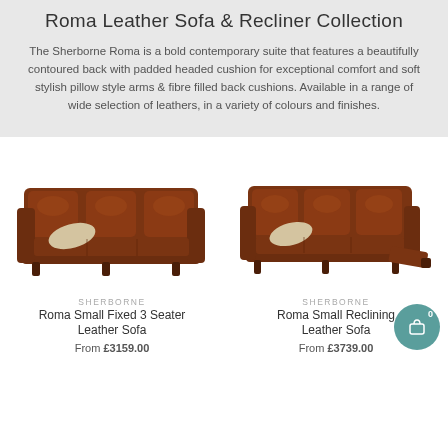Roma Leather Sofa & Recliner Collection
The Sherborne Roma is a bold contemporary suite that features a beautifully contoured back with padded headed cushion for exceptional comfort and soft stylish pillow style arms & fibre filled back cushions. Available in a range of wide selection of leathers, in a variety of colours and finishes.
[Figure (photo): Brown leather 3-seater fixed sofa with cream cushion - Sherborne Roma Small Fixed 3 Seater Leather Sofa]
SHERBORNE
Roma Small Fixed 3 Seater Leather Sofa
From £3159.00
[Figure (photo): Brown leather 3-seater reclining sofa with footrest extended and cream cushion - Sherborne Roma Small Reclining Leather Sofa]
SHERBORNE
Roma Small Reclining Leather Sofa
From £3739.00